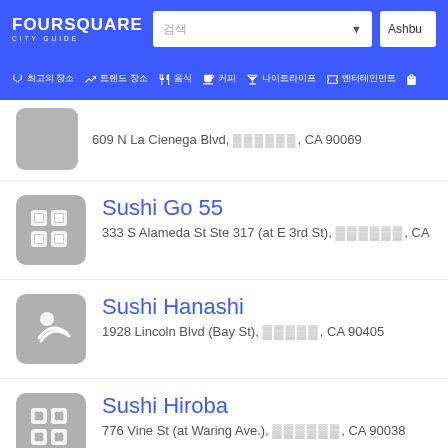FOURSQUARE CITY GUIDE
609 N La Cienega Blvd, [garbled], CA 90069
Sushi Go 55 — 333 S Alameda St Ste 317 (at E 3rd St), [garbled], CA
Sushi Hanashi — 1928 Lincoln Blvd (Bay St), [garbled], CA 90405
Sushi Hiroba — 776 Vine St (at Waring Ave.), [garbled], CA 90038
Sushi Hirosuke — 17237 Ventura Blvd, Encino, CA 91316
Sushi House